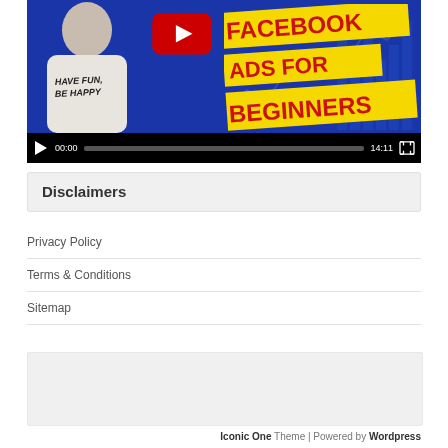[Figure (screenshot): YouTube-style embedded video player showing a Facebook Ads for Beginners tutorial. Thumbnail shows a smiling young man in a t-shirt reading 'Have Fun. Be Happy' next to bold yellow banners with red text reading 'FACEBOOK ADS FOR BEGINNERS'. A red YouTube play button is centered. Video controls show 00:00 timestamp, progress bar, 14:11 duration, and fullscreen button.]
Disclaimers
Privacy Policy
Terms & Conditions
Sitemap
[Figure (other): Empty gray placeholder box]
Iconic One Theme | Powered by Wordpress